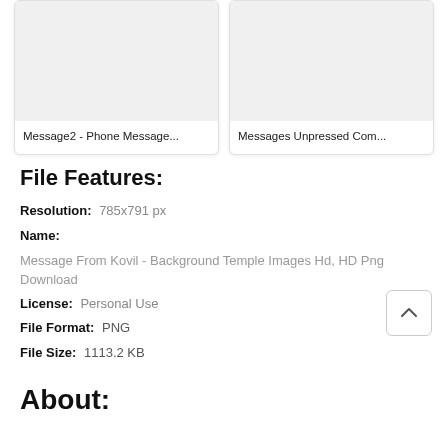[Figure (screenshot): Two image card thumbnails with gray placeholder images. Left card labeled 'Message2 - Phone Message...', right card labeled 'Messages Unpressed Com...']
File Features:
Resolution:  785x791 px
Name:
Message From Kovil - Background Temple Images Hd, HD Png Download
License:  Personal Use
File Format:  PNG
File Size:  1113.2 KB
About: